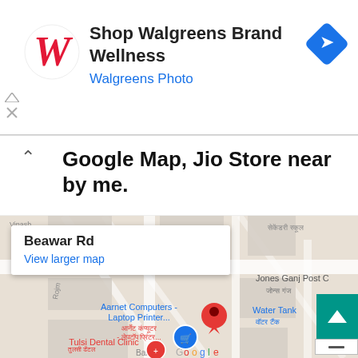[Figure (screenshot): Walgreens advertisement banner with red Walgreens cursive W logo, text 'Shop Walgreens Brand Wellness' and 'Walgreens Photo' in blue, and a blue diamond navigation icon on the right.]
Google Map, Jio Store near by me.
[Figure (map): Google Map screenshot showing Beawar Rd area with a red location pin near 'Aarnet Computers - Laptop Printer...' label in blue and Hindi text, a blue Jio store marker below, Tulsi Dental Clinic label in red at bottom left with Hindi text, Jones Ganj Post Office area to the right, Water Tank label, and Google logo at the bottom. A tooltip popup shows 'Beawar Rd' with 'View larger map' link. A teal scroll-up button is in the bottom right.]